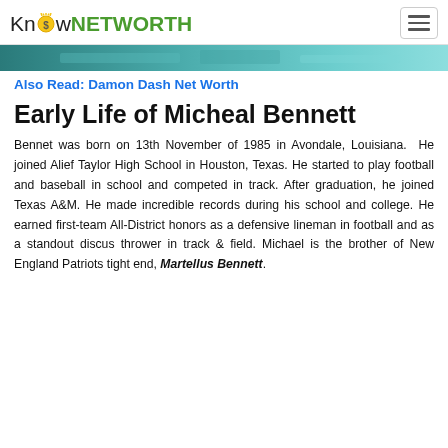KnowNETWORTH
[Figure (photo): Partial image strip showing teal/aqua colored background, likely a pool or sports facility]
Also Read: Damon Dash Net Worth
Early Life of Micheal Bennett
Bennet was born on 13th November of 1985 in Avondale, Louisiana.  He joined Alief Taylor High School in Houston, Texas. He started to play football and baseball in school and competed in track. After graduation, he joined Texas A&M. He made incredible records during his school and college. He earned first-team All-District honors as a defensive lineman in football and as a standout discus thrower in track & field. Michael is the brother of New England Patriots tight end, Martellus Bennett.